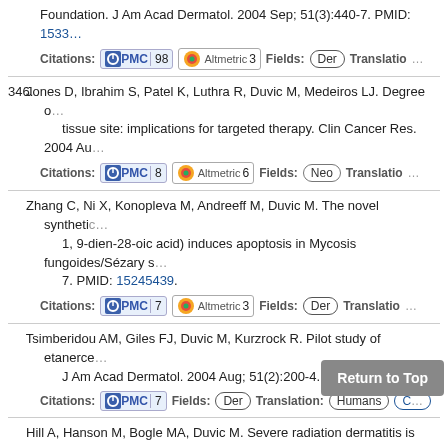Foundation. J Am Acad Dermatol. 2004 Sep; 51(3):440-7. PMID: 15333982
Citations: PMC 98 | Altmetric 3 | Fields: Der | Translation:
346. Jones D, Ibrahim S, Patel K, Luthra R, Duvic M, Medeiros LJ. Degree of tissue site: implications for targeted therapy. Clin Cancer Res. 2004 Au
Citations: PMC 8 | Altmetric 6 | Fields: Neo | Translation:
347. Zhang C, Ni X, Konopleva M, Andreeff M, Duvic M. The novel synthetic 1, 9-dien-28-oic acid) induces apoptosis in Mycosis fungoides/Sézary s 7. PMID: 15245439.
Citations: PMC 7 | Altmetric 3 | Fields: Der | Translation:
348. Tsimberidou AM, Giles FJ, Duvic M, Kurzrock R. Pilot study of etanerce J Am Acad Dermatol. 2004 Aug; 51(2):200-4. PMID: 15280837.
Citations: PMC 7 | Fields: Der | Translation: Humans | CT
349. Hill A, Hanson M, Bogle MA, Duvic M. Severe radiation dermatitis is re Aug; 27(4):361-3. PMID: 15289728.
Citations: PMC 9 | Altmetric 3 | Fi... | slatio...
350. Duvic M, Edelson R. Cutaneous T-cell lymphoma. J Am Acad Dermato